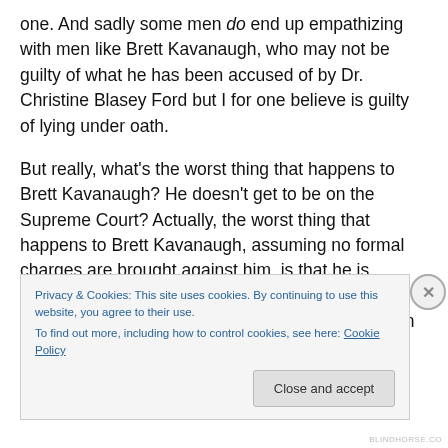one. And sadly some men do end up empathizing with men like Brett Kavanaugh, who may not be guilty of what he has been accused of by Dr. Christine Blasey Ford but I for one believe is guilty of lying under oath.
But really, what's the worst thing that happens to Brett Kavanaugh? He doesn't get to be on the Supreme Court? Actually, the worst thing that happens to Brett Kavanaugh, assuming no formal charges are brought against him, is that he is impeached from his current position as a Circuit Court Judge, he's already lost his teaching position at
Privacy & Cookies: This site uses cookies. By continuing to use this website, you agree to their use.
To find out more, including how to control cookies, see here: Cookie Policy
Close and accept
BLINDHORSE.CO